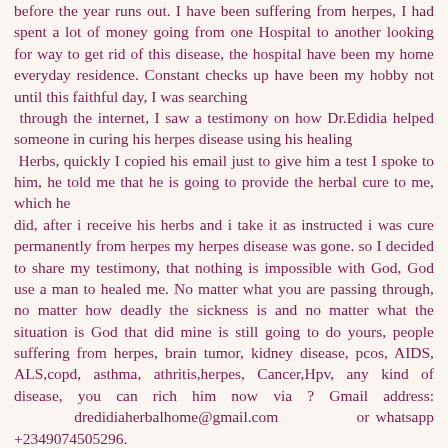before the year runs out. I have been suffering from herpes, I had spent a lot of money going from one Hospital to another looking for way to get rid of this disease, the hospital have been my home everyday residence. Constant checks up have been my hobby not until this faithful day, I was searching through the internet, I saw a testimony on how Dr.Edidia helped someone in curing his herpes disease using his healing Herbs, quickly I copied his email just to give him a test I spoke to him, he told me that he is going to provide the herbal cure to me, which he did, after i receive his herbs and i take it as instructed i was cure permanently from herpes my herpes disease was gone. so I decided to share my testimony, that nothing is impossible with God, God use a man to healed me. No matter what you are passing through, no matter how deadly the sickness is and no matter what the situation is God that did mine is still going to do yours, people suffering from herpes, brain tumor, kidney disease, pcos, AIDS, ALS,copd, asthma, athritis,herpes, Cancer,Hpv, any kind of disease, you can rich him now via ? Gmail address: dredidiaherbalhome@gmail.com or whatsapp +2349074505296. visit his website https://dredidiaherbalhome.wixsite.com/dredidiaherbalhome